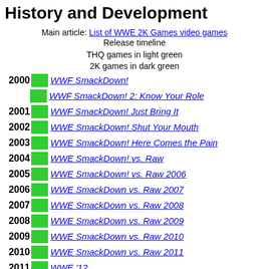History and Development
Main article: List of WWE 2K Games video games
Release timeline
THQ games in light green
2K games in dark green
2000 | WWF SmackDown!
2000 | WWF SmackDown! 2: Know Your Role
2001 | WWF SmackDown! Just Bring It
2002 | WWE SmackDown! Shut Your Mouth
2003 | WWE SmackDown! Here Comes the Pain
2004 | WWE SmackDown! vs. Raw
2005 | WWE SmackDown! vs. Raw 2006
2006 | WWE SmackDown vs. Raw 2007
2007 | WWE SmackDown vs. Raw 2008
2008 | WWE SmackDown vs. Raw 2009
2009 | WWE SmackDown vs. Raw 2010
2010 | WWE SmackDown vs. Raw 2011
2011 | WWE '12
2012 | WWE '13
2013 | WWE 2K14